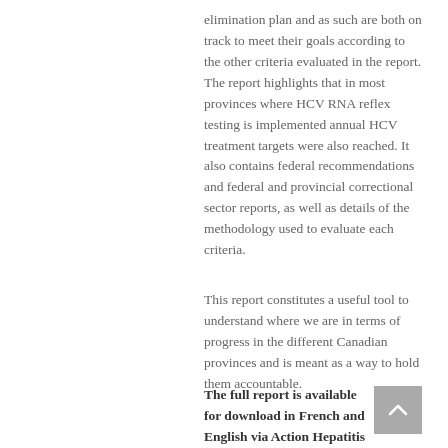elimination plan and as such are both on track to meet their goals according to the other criteria evaluated in the report. The report highlights that in most provinces where HCV RNA reflex testing is implemented annual HCV treatment targets were also reached. It also contains federal recommendations and federal and provincial correctional sector reports, as well as details of the methodology used to evaluate each criteria.
This report constitutes a useful tool to understand where we are in terms of progress in the different Canadian provinces and is meant as a way to hold them accountable.
The full report is available for download in French and English via Action Hepatitis Canada's website.